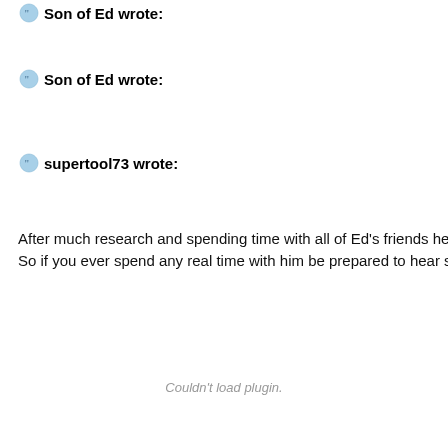Son of Ed wrote:
Son of Ed wrote:
supertool73 wrote:
After much research and spending time with all of Ed's friends he b... So if you ever spend any real time with him be prepared to hear so...
Couldn't load plugin.